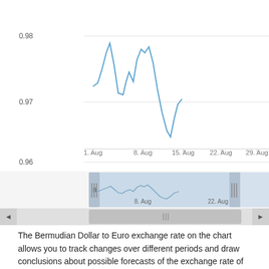[Figure (continuous-plot): Line chart showing Bermudian Dollar to Euro exchange rate from 1 Aug to 29 Aug. Y-axis labels: 0.96, 0.97, 0.98. X-axis labels: 1. Aug, 8. Aug, 15. Aug, 22. Aug, 29. Aug. Rate peaks near 0.985 around 5 Aug, dips to ~0.975 around 7 Aug, rises again to ~0.983 around 11 Aug, then falls to ~0.970 around 14 Aug, bottoms at ~0.965 around 18 Aug, then partially recovers to ~0.972. Below the main chart is a navigator/scroll control with a blue shaded range selector and a grey scrollbar.]
The Bermudian Dollar to Euro exchange rate on the chart allows you to track changes over different periods and draw conclusions about possible forecasts of the exchange rate of one currency in relation to another.